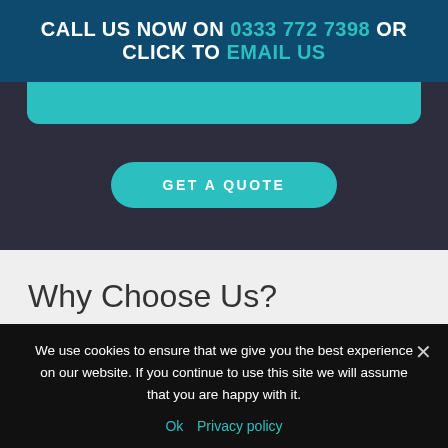CALL US NOW ON 0333 772 7398 OR CLICK TO EMAIL US
[Figure (other): Teal rounded bar below header]
[Figure (other): GET A QUOTE teal rounded button]
Why Choose Us?
We use cookies to ensure that we give you the best experience on our website. If you continue to use this site we will assume that you are happy with it.
Ok   Privacy policy